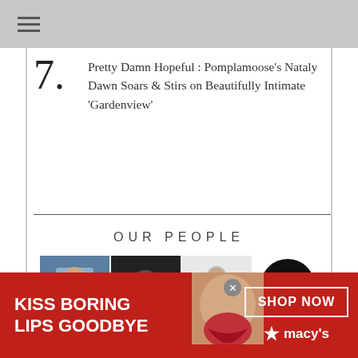7. Pretty Damn Hopeful : Pomplamoose's Nataly Dawn Soars & Stirs on Beautifully Intimate 'Gardenview'
OUR PEOPLE
[Figure (photo): Grid of 8 photos of various people and an Atwood Magazine logo]
[Figure (photo): Advertisement banner: KISS BORING LIPS GOODBYE with SHOP NOW and Macy's logo, featuring a woman with red lipstick]